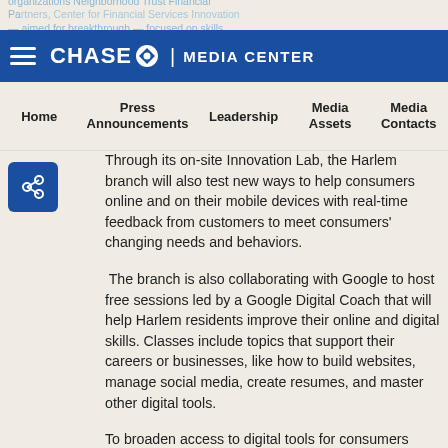organizations Neighborhood Trust Financial Partners, Center for Financial Services Innovation — aimed at breakthrough — focused on skills
[Figure (logo): Chase Media Center logo with hamburger menu icon on blue header bar]
Home | Press Announcements | Leadership | Media Assets | Media Contacts
[Figure (other): Blue share/social icon button]
Through its on-site Innovation Lab, the Harlem branch will also test new ways to help consumers online and on their mobile devices with real-time feedback from customers to meet consumers' changing needs and behaviors.
The branch is also collaborating with Google to host free sessions led by a Google Digital Coach that will help Harlem residents improve their online and digital skills. Classes include topics that support their careers or businesses, like how to build websites, manage social media, create resumes, and master other digital tools.
To broaden access to digital tools for consumers everywhere, JPMorgan Chase is extending its support of the Financial Solutions Lab with a new $25 million, five-year philanthropic investment. The Financial Solutions Lab is a joint initiative